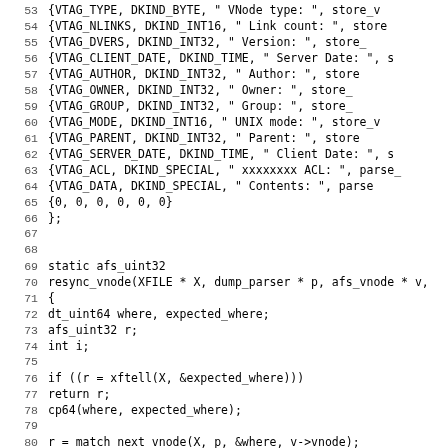Code listing lines 53–85, C source code for resync_vnode function and vnode attribute table
53: {VTAG_TYPE, DKIND_BYTE, " VNode type:  ", store_v
54: {VTAG_NLINKS, DKIND_INT16, " Link count:   ", store
55: {VTAG_DVERS, DKIND_INT32, " Version:    ", store_
56: {VTAG_CLIENT_DATE, DKIND_TIME, " Server Date:  ", s
57: {VTAG_AUTHOR, DKIND_INT32, " Author:     ", store
58: {VTAG_OWNER, DKIND_INT32, " Owner:      ", store_
59: {VTAG_GROUP, DKIND_INT32, " Group:      ", store_
60: {VTAG_MODE, DKIND_INT16, " UNIX mode:   ", store_v
61: {VTAG_PARENT, DKIND_INT32, " Parent:     ", store
62: {VTAG_SERVER_DATE, DKIND_TIME, " Client Date:  ", s
63: {VTAG_ACL, DKIND_SPECIAL, " xxxxxxxx ACL: ", parse_
64: {VTAG_DATA, DKIND_SPECIAL, " Contents:    ", parse
65: {0, 0, 0, 0, 0, 0}
66: };
67: (blank)
68: (blank)
69: static afs_uint32
70: resync_vnode(XFILE * X, dump_parser * p, afs_vnode * v,
71: {
72:     dt_uint64 where, expected_where;
73:     afs_uint32 r;
74:     int i;
75: (blank)
76:     if ((r = xftell(X, &expected_where)))
77:         return r;
78:     cp64(where, expected_where);
79: (blank)
80:     r = match_next_vnode(X, p, &where, v->vnode);
81:     if (r && r != DSERR_FMT)
82:         return r;
83:     if (r)
84:         for (i = -start; i < limit; i++) {
85: (partial/cut off)